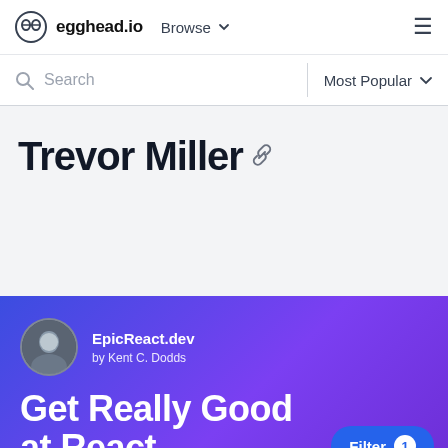egghead.io  Browse  ≡
Search  Most Popular
Trevor Miller
[Figure (illustration): Link/chain icon in gray]
[Figure (screenshot): EpicReact.dev course card by Kent C. Dodds with purple gradient background showing 'Get Really Good at React' heading and instructor avatar]
EpicReact.dev by Kent C. Dodds
Get Really Good at React
Filter 1